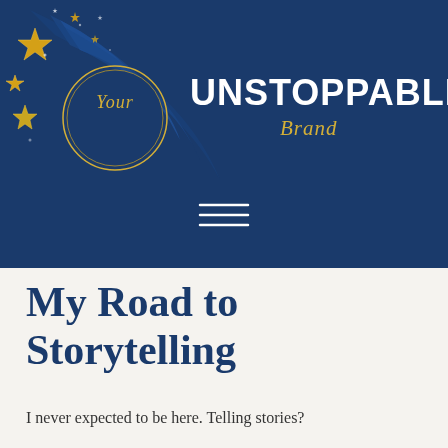[Figure (logo): Your Unstoppable Brand logo with circular emblem, gold stars, and blue swoosh on dark navy background with hamburger menu icon]
My Road to Storytelling
I never expected to be here. Telling stories?